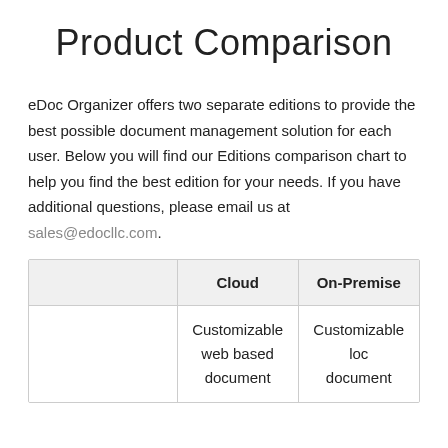Product Comparison
eDoc Organizer offers two separate editions to provide the best possible document management solution for each user. Below you will find our Editions comparison chart to help you find the best edition for your needs. If you have additional questions, please email us at sales@edocllc.com.
|  | Cloud | On-Premise |
| --- | --- | --- |
|  | Customizable web based document | Customizable local document |